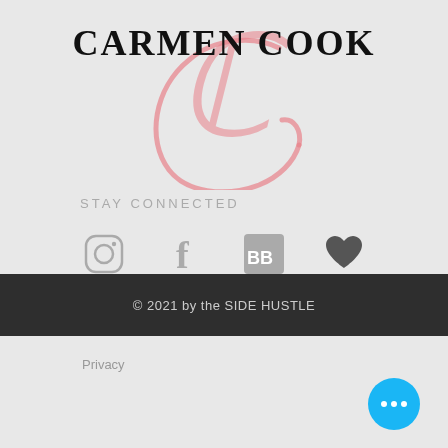CARMEN COOK
STAY CONNECTED
[Figure (infographic): Social media icons: Instagram, Facebook, BookBub, heart/wishlist, Goodreads, Twitter, Pinterest]
© 2021 by the SIDE HUSTLE
Privacy